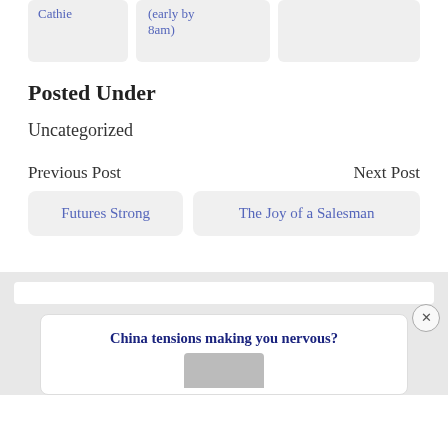Cathie
(early by 8am)
Posted Under
Uncategorized
Previous Post
Next Post
Futures Strong
The Joy of a Salesman
China tensions making you nervous?